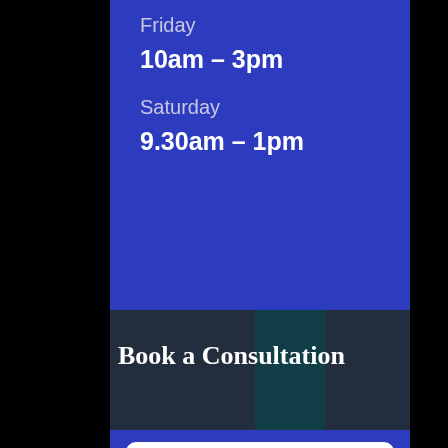Friday
10am – 3pm
Saturday
9.30am – 1pm
Book a Consultation
Name
Phone Number
Email Address